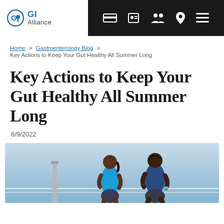GI Alliance — navigation header
Home > Gastroenterology Blog > Key Actions to Keep Your Gut Healthy All Summer Long
Key Actions to Keep Your Gut Healthy All Summer Long
6/9/2022
[Figure (photo): Two people (a woman in a blue tank top and a man in a blue shirt) jogging outdoors on a bright sunny day, with a fence and pole visible in the background]